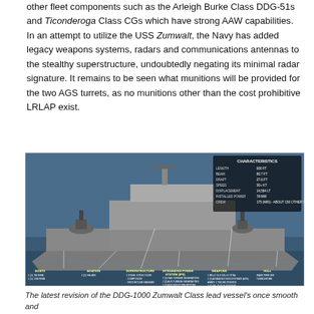other fleet components such as the Arleigh Burke Class DDG-51s and Ticonderoga Class CGs which have strong AAW capabilities. In an attempt to utilize the USS Zumwalt, the Navy has added legacy weapons systems, radars and communications antennas to the stealthy superstructure, undoubtedly negating its minimal radar signature. It remains to be seen what munitions will be provided for the two AGS turrets, as no munitions other than the cost prohibitive LRLAP exist.
[Figure (photo): Labeled diagram/photo of the DDG-1000 Zumwalt Class destroyer at sea, with callouts indicating BOATS, AVIATION, SUPERSTRUCTURE, INTEGRATED POWER SYSTEM (IPS), WEAPONS, and HULL characteristics. An inset table labeled CHARACTERISTICS lists ship dimensions and specifications.]
The latest revision of the DDG-1000 Zumwalt Class lead vessel's once smooth and